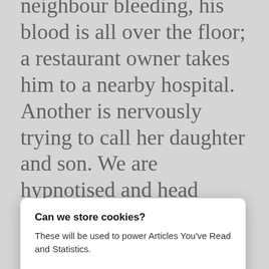neighbour bleeding, his blood is all over the floor; a restaurant owner takes him to a nearby hospital. Another is nervously trying to call her daughter and son. We are hypnotised and head down the stairs – assuming the street is safer. What kind of logic is that? What if another explosion happens... collective s... r.
[Figure (screenshot): Cookie consent popup overlay with title 'Can we store cookies?', description 'These will be used to power Articles You've Read and Statistics.', and two buttons: 'No, Customize' (text) and 'This is okay' (orange button).]
wn the stairs What kind of logic is that?
[Figure (other): Orange toggle switch UI element, toggled on (orange with white circle on right).]
I ... alking on shattered glass in the street with my house slippers. I look